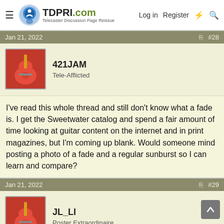TDPRI.com — Telecaster Discussion Page Reissue. Log in | Register
Jan 21, 2022  #28
421JAM
Tele-Afflicted
I've read this whole thread and still don't know what a fade is. I get the Sweetwater catalog and spend a fair amount of time looking at guitar content on the internet and in print magazines, but I'm coming up blank. Would someone mind posting a photo of a fade and a regular sunburst so I can learn and compare?
Jan 21, 2022  #29
JL_LI
Poster Extraordinaire
All my guitars are solid color with the single exception of my CS'69 Stratocaster. That one's a heavy relic burst. I never liked relic'd solids. They just look beat up. But I like the relic on the